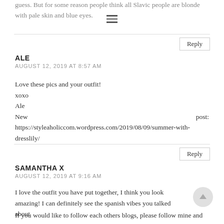guess. But for some reason people think all Slavic people are blonde with pale skin and blue eyes.
Reply
ALE
AUGUST 12, 2019 AT 8:57 AM
Love these pics and your outfit!
xoxo
Ale
New post: https://styleaholiccom.wordpress.com/2019/08/09/summer-with-dresslily/
Reply
SAMANTHA X
AUGUST 12, 2019 AT 9:16 AM
I love the outfit you have put together, I think you look amazing! I can definitely see the spanish vibes you talked about
If you would like to follow each others blogs, please follow mine and let me know in the comments so I can follow you straight back <3